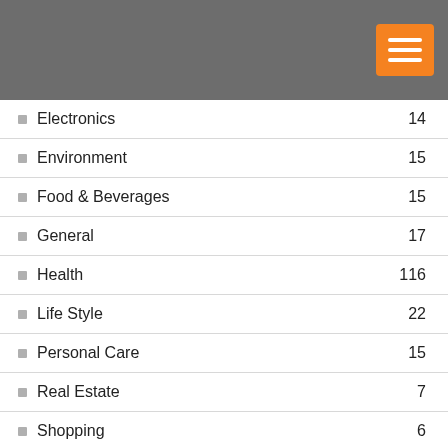[Figure (other): Gray header bar with orange hamburger menu button in top right corner]
Electronics  14
Environment  15
Food & Beverages  15
General  17
Health  116
Life Style  22
Personal Care  15
Real Estate  7
Shopping  6
Travel  2